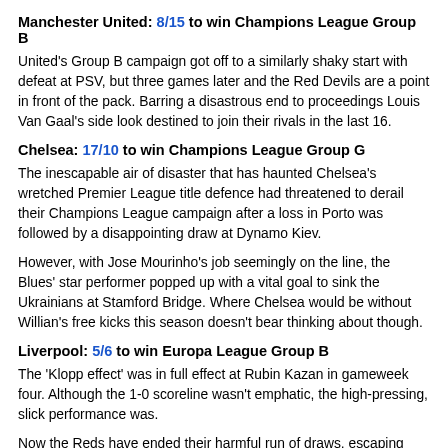Manchester United: 8/15 to win Champions League Group B
United's Group B campaign got off to a similarly shaky start with defeat at PSV, but three games later and the Red Devils are a point in front of the pack. Barring a disastrous end to proceedings Louis Van Gaal's side look destined to join their rivals in the last 16.
Chelsea: 17/10 to win Champions League Group G
The inescapable air of disaster that has haunted Chelsea's wretched Premier League title defence had threatened to derail their Champions League campaign after a loss in Porto was followed by a disappointing draw at Dynamo Kiev.
However, with Jose Mourinho's job seemingly on the line, the Blues' star performer popped up with a vital goal to sink the Ukrainians at Stamford Bridge. Where Chelsea would be without Willian's free kicks this season doesn't bear thinking about though.
Liverpool: 5/6 to win Europa League Group B
The 'Klopp effect' was in full effect at Rubin Kazan in gameweek four. Although the 1-0 scoreline wasn't emphatic, the high-pressing, slick performance was.
Now the Reds have ended their harmful run of draws, escaping Group B looks something of a formality from here and with leaders Sion yet to play, winning the group is a very attainable target.